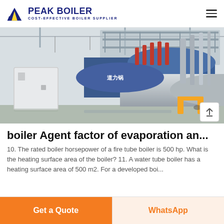PEAK BOILER – COST-EFFECTIVE BOILER SUPPLIER
[Figure (photo): Industrial fire tube boiler installation in a facility, showing a large blue cylindrical boiler body with insulated tank, piping, and a yellow safety barrier, inside a white-walled building.]
boiler Agent factor of evaporation an...
10. The rated boiler horsepower of a fire tube boiler is 500 hp. What is the heating surface area of the boiler? 11. A water tube boiler has a heating surface area of 500 m2. For a developed boi...
Get a Quote   WhatsApp